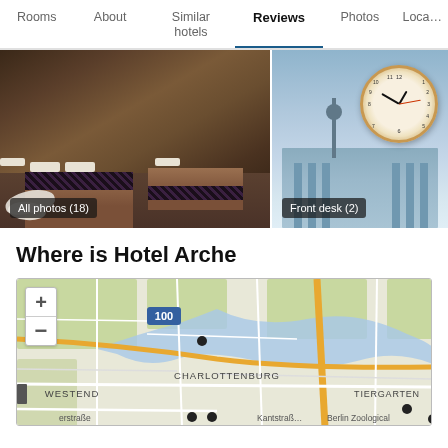Rooms | About | Similar hotels | Reviews | Photos | Loca…
[Figure (photo): Hotel room photo with two beds, patterned blankets and white pillows, towels on floor. Label: 'All photos (18)']
[Figure (photo): Berlin cityscape illustration with clock overlay showing landmarks including Brandenburg Gate and TV tower. Label: 'Front desk (2)']
Where is Hotel Arche
[Figure (map): Street map of Berlin showing districts including Charlottenburg, Westend, Tiergarten, with streets Kantstraße, Erstraße, Berlin Zoological area visible. Map shows route 100, zoom controls (+/-), river, green parks, orange and white roads.]